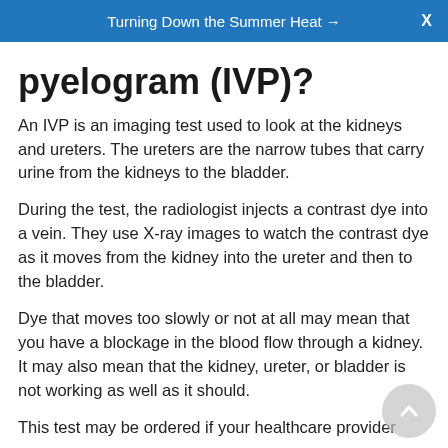Turning Down the Summer Heat →  X
pyelogram (IVP)?
An IVP is an imaging test used to look at the kidneys and ureters. The ureters are the narrow tubes that carry urine from the kidneys to the bladder.
During the test, the radiologist injects a contrast dye into a vein. They use X-ray images to watch the contrast dye as it moves from the kidney into the ureter and then to the bladder.
Dye that moves too slowly or not at all may mean that you have a blockage in the blood flow through a kidney. It may also mean that the kidney, ureter, or bladder is not working as well as it should.
This test may be ordered if your healthcare provider